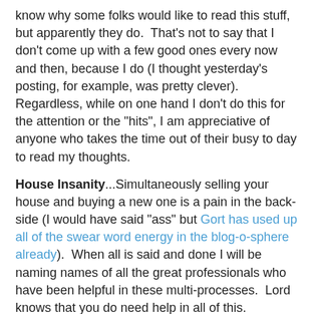know why some folks would like to read this stuff, but apparently they do.  That's not to say that I don't come up with a few good ones every now and then, because I do (I thought yesterday's posting, for example, was pretty clever).  Regardless, while on one hand I don't do this for the attention or the "hits", I am appreciative of anyone who takes the time out of their busy to day to read my thoughts.
House Insanity...Simultaneously selling your house and buying a new one is a pain in the back-side (I would have said "ass" but Gort has used up all of the swear word energy in the blog-o-sphere already).  When all is said and done I will be naming names of all the great professionals who have been helpful in these multi-processes.  Lord knows that you do need help in all of this.  Needless to say there will continue to be many angst-filled postings as the my countdown towards temporary homelessness continues.
Speaking of House Stuff...At the risk of sounding sappy, one of the things I worry about the most in the process of having my current house sold (in the works) and buying a new one (also in the works) is the fact that there will be a